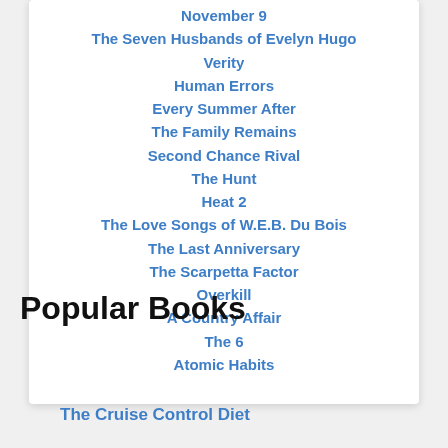November 9
The Seven Husbands of Evelyn Hugo
Verity
Human Errors
Every Summer After
The Family Remains
Second Chance Rival
The Hunt
Heat 2
The Love Songs of W.E.B. Du Bois
The Last Anniversary
The Scarpetta Factor
Overkill
A Country Affair
The 6
Atomic Habits
Popular Books
The Cruise Control Diet